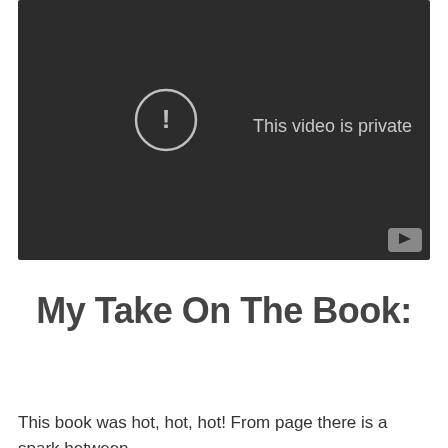[Figure (screenshot): YouTube video embed showing 'This video is private' message with an exclamation mark in a circle icon on a dark background, and a YouTube logo button in the bottom right corner.]
My Take On The Book:
This book was hot, hot, hot! From page there is a spark between